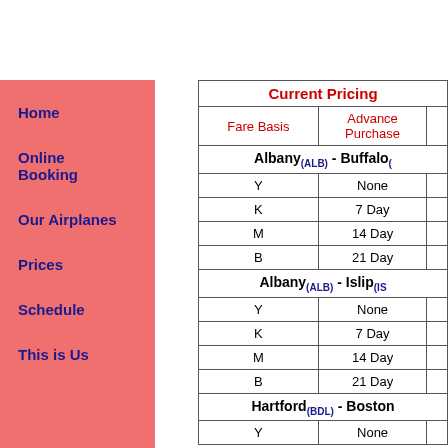Home
Online Booking
Our Airplanes
Prices
Schedule
This is Us
| Current Pricing | Fare Basis | Advance Purchase |
| --- | --- | --- |
| Albany(ALB) - Buffalo( |  |  |
| Y | None |  |
| K | 7 Day |  |
| M | 14 Day |  |
| B | 21 Day |  |
| Albany(ALB) - Islip(Is |  |  |
| Y | None |  |
| K | 7 Day |  |
| M | 14 Day |  |
| B | 21 Day |  |
| Hartford(BDL) - Boston |  |  |
| Y | None |  |